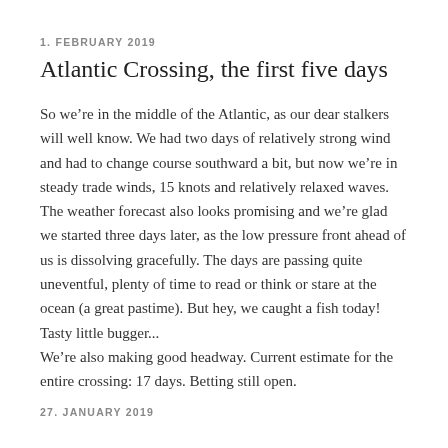1. FEBRUARY 2019
Atlantic Crossing, the first five days
So we’re in the middle of the Atlantic, as our dear stalkers will well know. We had two days of relatively strong wind and had to change course southward a bit, but now we’re in steady trade winds, 15 knots and relatively relaxed waves. The weather forecast also looks promising and we’re glad we started three days later, as the low pressure front ahead of us is dissolving gracefully. The days are passing quite uneventful, plenty of time to read or think or stare at the ocean (a great pastime). But hey, we caught a fish today! Tasty little bugger...
We’re also making good headway. Current estimate for the entire crossing: 17 days. Betting still open.
27. JANUARY 2019